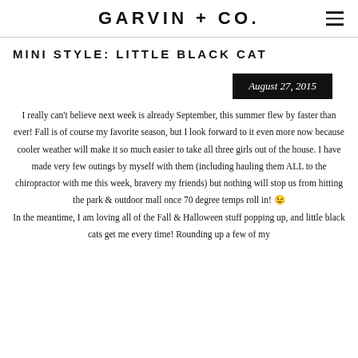GARVIN + CO.
MINI STYLE: LITTLE BLACK CAT
August 27, 2015
I really can't believe next week is already September, this summer flew by faster than ever! Fall is of course my favorite season, but I look forward to it even more now because cooler weather will make it so much easier to take all three girls out of the house. I have made very few outings by myself with them (including hauling them ALL to the chiropractor with me this week, bravery my friends) but nothing will stop us from hitting the park & outdoor mall once 70 degree temps roll in! 😉 In the meantime, I am loving all of the Fall & Halloween stuff popping up, and little black cats get me every time! Rounding up a few of my